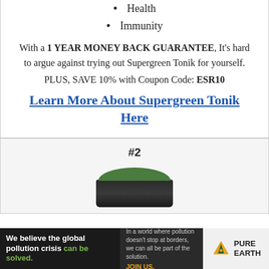Sleep
Health
Immunity
With a 1 YEAR MONEY BACK GUARANTEE, It's hard to argue against trying out Supergreen Tonik for yourself.
PLUS, SAVE 10% with Coupon Code: ESR10
Learn More About Supergreen Tonik Here
#2
[Figure (photo): A jar of Supergreen Tonik supplement with green lid and dark body]
[Figure (infographic): Advertisement banner: 'We believe the global pollution crisis can be solved.' with Pure Earth logo and join us call to action.]